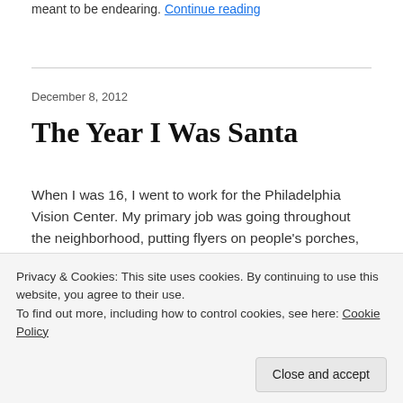meant to be endearing. Continue reading
December 8, 2012
The Year I Was Santa
When I was 16, I went to work for the Philadelphia Vision Center. My primary job was going throughout the neighborhood, putting flyers on people's porches, in their screen doors, in their mailboxes (against the law), and in their hands. For this service, I was paid $5
Privacy & Cookies: This site uses cookies. By continuing to use this website, you agree to their use.
To find out more, including how to control cookies, see here: Cookie Policy